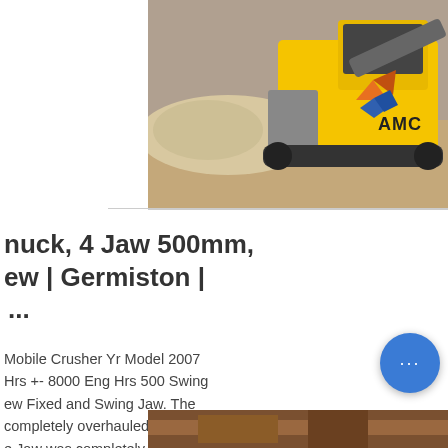[Figure (photo): Yellow mobile jaw crusher machine in operation at a quarry/construction site, with AMC logo overlay in top right of image]
nuck, 4 Jaw 500mm, ew | Germiston | ...
Mobile Crusher Yr Model 2007 Hrs +- 8000 Eng Hrs 500 Swing ew Fixed and Swing Jaw. The completely overhauled +- 500 e Jaw was completely new Shaft and Bearings New Feeder New Feeder Box The -- 75% Good Aluminium Fuel d above the Engine.
[Figure (photo): Partial view of another machine or equipment at the bottom of the page]